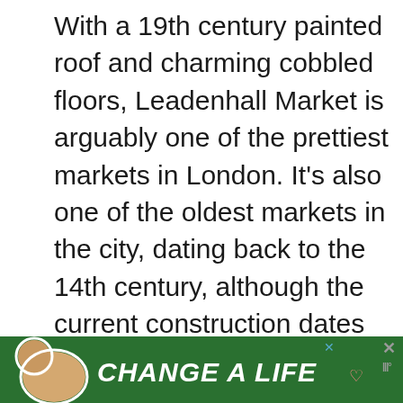With a 19th century painted roof and charming cobbled floors, Leadenhall Market is arguably one of the prettiest markets in London. It's also one of the oldest markets in the city, dating back to the 14th century, although the current construction dates back to Victorian times.
[Figure (infographic): Heart/like button (dark purple circle with heart icon), like count '12', and share button below]
[Figure (infographic): Advertisement banner showing people with arms around each other with text 'We Stand Together' and close X button]
[Figure (infographic): What's Next section with label 'WHAT'S NEXT →', text '10 Awesome Things To D...' and circular thumbnail image of Borough Market]
[Figure (infographic): Bottom advertisement banner with green background showing a dog and text 'CHANGE A LIFE' with close X buttons]